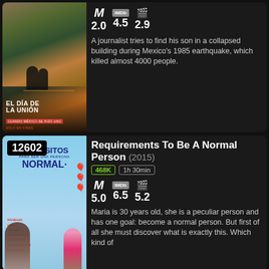[Figure (photo): Movie poster for 'El Día de la Unión' showing two silhouetted figures in a disaster scene with collapsed buildings]
2.0   4.5   2.9
A journalist tries to find his son in a collapsed building during Mexico's 1985 earthquake, which killed almost 4000 people.
12602
[Figure (photo): Movie poster for 'Requisitos Para Ser Una Persona Normal' showing two characters with balloons on a sky-blue background]
Requirements To Be A Normal Person (2015)
468K   1h 30min
5.0   6.5   5.2
Maria is 30 years old, she is a peculiar person and has one goal: become a normal person. But first of all she must discover what is exactly this. Which kind of